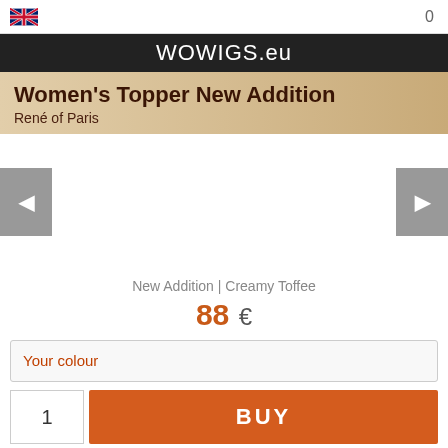WOWIGS.eu
Women's Topper New Addition
René of Paris
[Figure (other): Product image carousel area with left and right navigation arrows on grey backgrounds]
New Addition | Creamy Toffee
88 €
Your colour
1  BUY